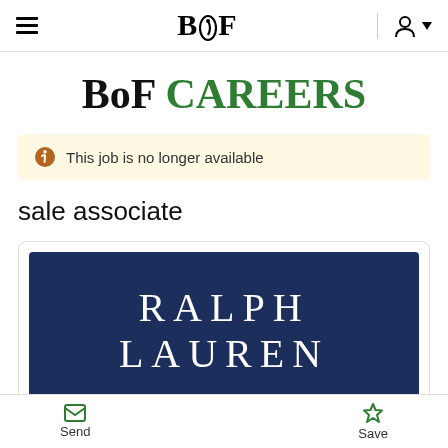BoF
BoF CAREERS
This job is no longer available
sale associate
[Figure (logo): Ralph Lauren logo on dark navy blue background with text RALPH LAUREN in white serif uppercase letters]
Send   Save